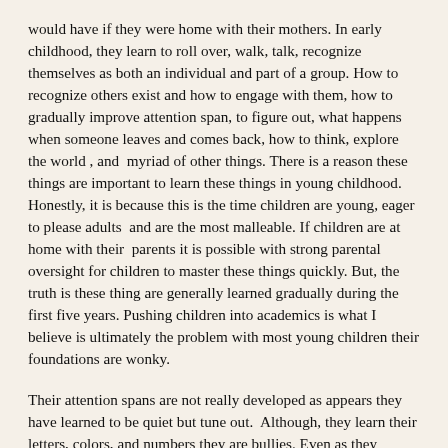would have if they were home with their mothers. In early childhood, they learn to roll over, walk, talk, recognize themselves as both an individual and part of a group. How to recognize others exist and how to engage with them, how to gradually improve attention span, to figure out, what happens when someone leaves and comes back, how to think, explore the world , and  myriad of other things. There is a reason these things are important to learn these things in young childhood.  Honestly, it is because this is the time children are young, eager to please adults  and are the most malleable. If children are at home with their  parents it is possible with strong parental oversight for children to master these things quickly. But, the truth is these thing are generally learned gradually during the first five years. Pushing children into academics is what I believe is ultimately the problem with most young children their foundations are wonky.
Their attention spans are not really developed as appears they have learned to be quiet but tune out.  Although, they learn their letters, colors, and numbers they are bullies. Even as they excellent in many areas they can be lonely, sad, and disconnected because they never really learned how to make a true friend. These are the purposes of ECE.